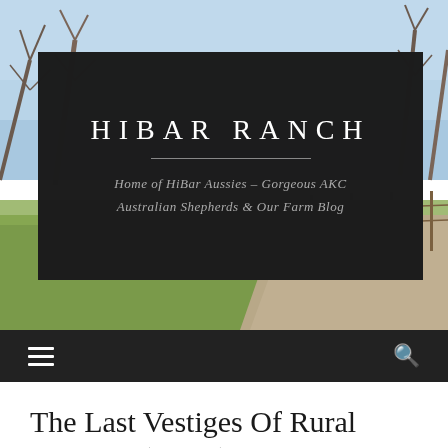[Figure (photo): Outdoor rural farm scene with bare trees, blue sky, gravel driveway, fence, and green grass in foreground]
HIBAR RANCH
Home of HiBar Aussies – Gorgeous AKC Australian Shepherds & Our Farm Blog
The Last Vestiges Of Rural America (Poem)